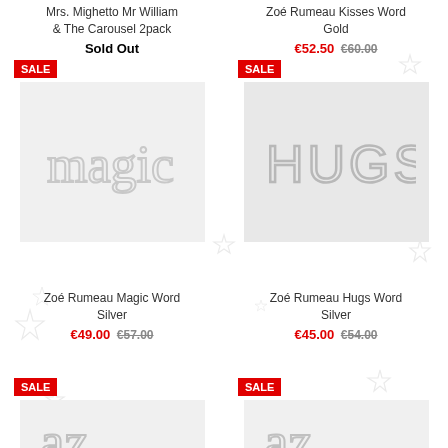Mrs. Mighetto Mr William & The Carousel 2pack
Sold Out
Zoé Rumeau Kisses Word Gold
€52.50 €60.00
SALE
[Figure (photo): Wire art word 'magic' in silver on white background]
SALE
[Figure (photo): Wire art word 'HUGS' in silver on light grey background]
Zoé Rumeau Magic Word Silver
€49.00 €57.00
Zoé Rumeau Hugs Word Silver
€45.00 €54.00
SALE
[Figure (photo): Partial view of wire art product, silver on white background]
SALE
[Figure (photo): Partial view of wire art product, silver on white background]